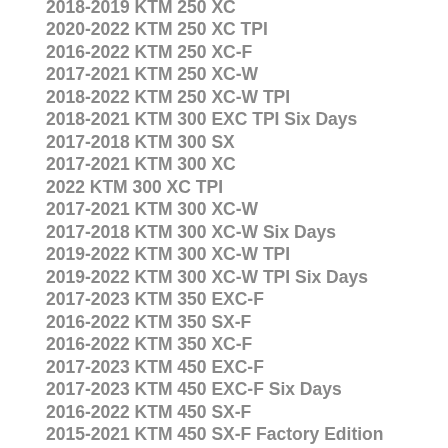2018-2019 KTM 250 XC
2020-2022 KTM 250 XC TPI
2016-2022 KTM 250 XC-F
2017-2021 KTM 250 XC-W
2018-2022 KTM 250 XC-W TPI
2018-2021 KTM 300 EXC TPI Six Days
2017-2018 KTM 300 SX
2017-2021 KTM 300 XC
2022 KTM 300 XC TPI
2017-2021 KTM 300 XC-W
2017-2018 KTM 300 XC-W Six Days
2019-2022 KTM 300 XC-W TPI
2019-2022 KTM 300 XC-W TPI Six Days
2017-2023 KTM 350 EXC-F
2016-2022 KTM 350 SX-F
2016-2022 KTM 350 XC-F
2017-2023 KTM 450 EXC-F
2017-2023 KTM 450 EXC-F Six Days
2016-2022 KTM 450 SX-F
2015-2021 KTM 450 SX-F Factory Edition
2016-2022 KTM 450 XC-F